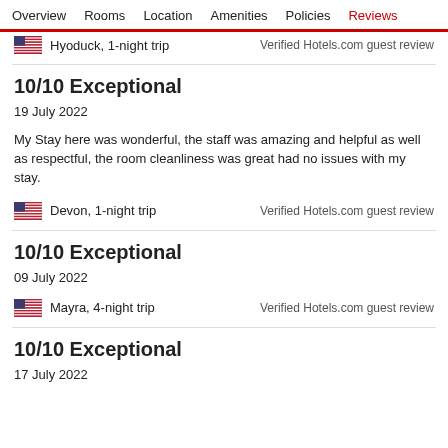Overview  Rooms  Location  Amenities  Policies  Reviews
Hyoduck, 1-night trip   Verified Hotels.com guest review
10/10 Exceptional
19 July 2022
My Stay here was wonderful, the staff was amazing and helpful as well as respectful, the room cleanliness was great had no issues with my stay.
Devon, 1-night trip   Verified Hotels.com guest review
10/10 Exceptional
09 July 2022
Mayra, 4-night trip   Verified Hotels.com guest review
10/10 Exceptional
17 July 2022